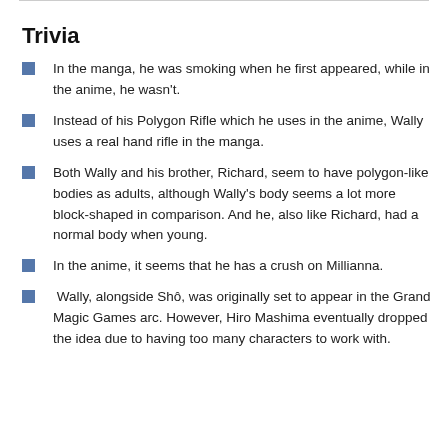|  |  |  |  |  |
| --- | --- | --- | --- | --- |
|  |
Trivia
In the manga, he was smoking when he first appeared, while in the anime, he wasn't.
Instead of his Polygon Rifle which he uses in the anime, Wally uses a real hand rifle in the manga.
Both Wally and his brother, Richard, seem to have polygon-like bodies as adults, although Wally's body seems a lot more block-shaped in comparison. And he, also like Richard, had a normal body when young.
In the anime, it seems that he has a crush on Millianna.
Wally, alongside Shô, was originally set to appear in the Grand Magic Games arc. However, Hiro Mashima eventually dropped the idea due to having too many characters to work with.